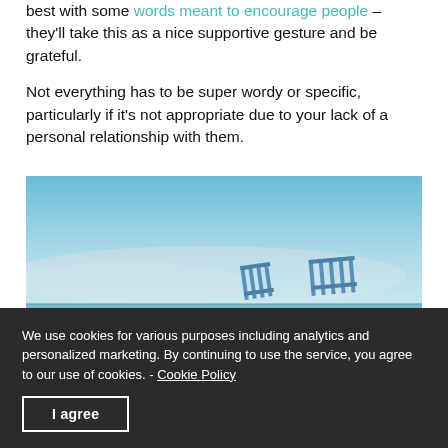best with some words meant to encourage people – they'll take this as a nice supportive gesture and be grateful.
Not everything has to be super wordy or specific, particularly if it's not appropriate due to your lack of a personal relationship with them.
[Figure (photo): A serene beach scene with a light blue sky and calm water. Two blue beach chairs or loungers are visible in the lower right portion of the image, partially obscured.]
We use cookies for various purposes including analytics and personalized marketing. By continuing to use the service, you agree to our use of cookies. - Cookie Policy
I agree